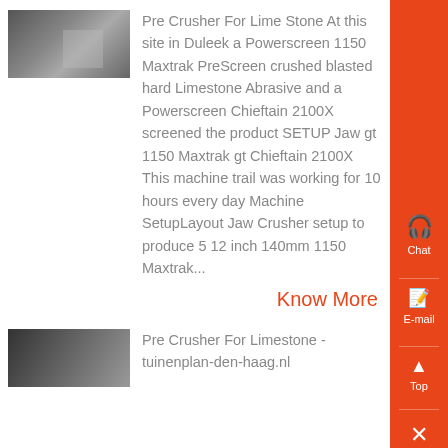[Figure (photo): Industrial crusher/screening equipment at a site, showing machinery in a warehouse/facility setting]
Pre Crusher For Lime Stone At this site in Duleek a Powerscreen 1150 Maxtrak PreScreen crushed blasted hard Limestone Abrasive and a Powerscreen Chieftain 2100X screened the product SETUP Jaw gt 1150 Maxtrak gt Chieftain 2100X This machine trail was working for 10 hours every day Machine SetupLayout Jaw Crusher setup to produce 5 12 inch 140mm 1150 Maxtrak...
Know More
[Figure (photo): Industrial limestone crusher equipment, aerial or angled view]
Pre Crusher For Limestone - tuinenplan-den-haag.nl